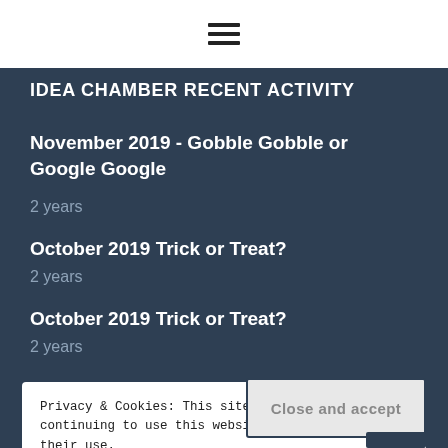[Figure (other): Hamburger menu icon (three horizontal lines)]
IDEA CHAMBER RECENT ACTIVITY
November 2019 - Gobble Gobble or Google Google
2 years
October 2019 Trick or Treat?
2 years
October 2019 Trick or Treat?
2 years
Privacy & Cookies: This site uses cookies. By continuing to use this website, you agree to their use.
To find out more, including how to control cookies, see here:
Cookie Policy
Close and accept